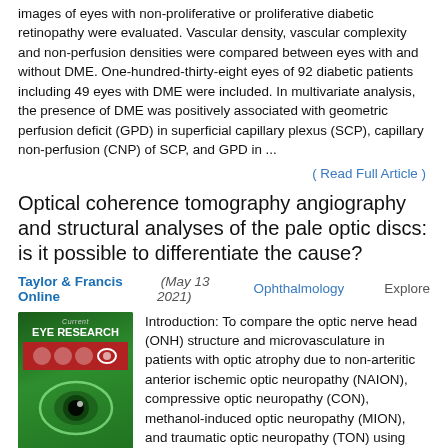images of eyes with non-proliferative or proliferative diabetic retinopathy were evaluated. Vascular density, vascular complexity and non-perfusion densities were compared between eyes with and without DME. One-hundred-thirty-eight eyes of 92 diabetic patients including 49 eyes with DME were included. In multivariate analysis, the presence of DME was positively associated with geometric perfusion deficit (GPD) in superficial capillary plexus (SCP), capillary non-perfusion (CNP) of SCP, and GPD in ...
( Read Full Article )
Optical coherence tomography angiography and structural analyses of the pale optic discs: is it possible to differentiate the cause?
Taylor & Francis Online (May 13 2021)   Ophthalmology   Explore
[Figure (photo): Journal cover of Current Eye Research, green background with red strip and eye imagery]
Introduction: To compare the optic nerve head (ONH) structure and microvasculature in patients with optic atrophy due to non-arteritic anterior ischemic optic neuropathy (NAION), compressive optic neuropathy (CON), methanol-induced optic neuropathy (MION), and traumatic optic neuropathy (TON) using optical coherence tomography angiography. Methods: In this comparative, cross-sectional study, 32 eyes with NAION, 18 eyes with CON, 32 eyes with MION, 23 eyes with TON, and 55 normal eyes were enrolled. Radial peripapillary capillary (RPC) vessel density, peripapillary retinal